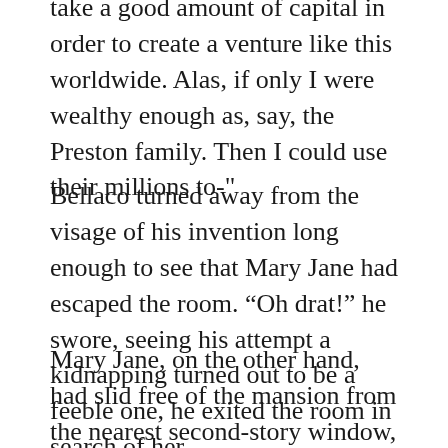take a good amount of capital in order to create a venture like this worldwide. Alas, if only I were wealthy enough as, say, the Preston family. Then I could use their millions to-"
Bellaco turned away from the visage of his invention long enough to see that Mary Jane had escaped the room. “Oh drat!” he swore, seeing his attempt a kidnapping turned out to be a feeble one, he exited the room in search of her.
Mary Jane, on the other hand, had slid free of the mansion from the nearest second-story window, scaled the accompanying wall, and hid